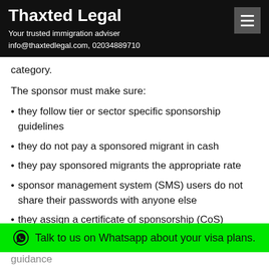Thaxted Legal
Your trusted immigration adviser
info@thaxtedlegal.com, 02034889710
category.
The sponsor must make sure:
they follow tier or sector specific sponsorship guidelines
they do not pay a sponsored migrant in cash
they pay sponsored migrants the appropriate rate
sponsor management system (SMS) users do not share their passwords with anyone else
they assign a certificate of sponsorship (CoS)
Talk to us on Whatsapp about your visa plans.
guidance